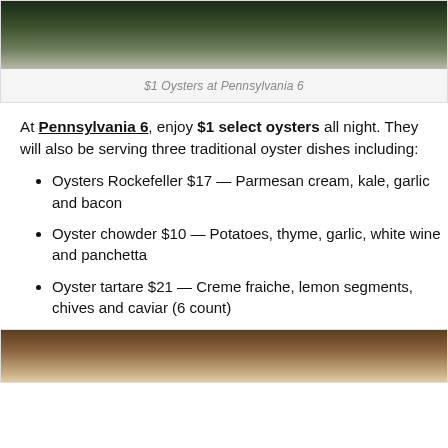[Figure (photo): Photo of oysters on a plate, dark background, partially cropped at top]
$1 Oysters at Pennsylvania 6
At Pennsylvania 6, enjoy $1 select oysters all night. They will also be serving three traditional oyster dishes including:
Oysters Rockefeller $17 — Parmesan cream, kale, garlic and bacon
Oyster chowder $10 — Potatoes, thyme, garlic, white wine and panchetta
Oyster tartare $21 — Creme fraiche, lemon segments, chives and caviar (6 count)
[Figure (photo): Photo of oysters in a bowl/basket, warm brown tones, partially cropped at bottom]